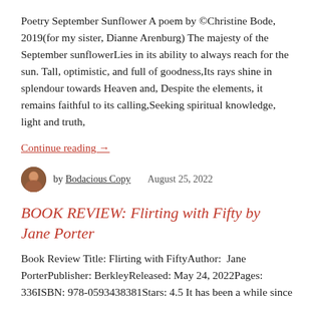Poetry September Sunflower A poem by ©Christine Bode, 2019(for my sister, Dianne Arenburg) The majesty of the September sunflowerLies in its ability to always reach for the sun. Tall, optimistic, and full of goodness,Its rays shine in splendour towards Heaven and, Despite the elements, it remains faithful to its calling,Seeking spiritual knowledge, light and truth,
Continue reading →
by Bodacious Copy   August 25, 2022
BOOK REVIEW: Flirting with Fifty by Jane Porter
Book Review Title: Flirting with FiftyAuthor:  Jane PorterPublisher: BerkleyReleased: May 24, 2022Pages: 336ISBN: 978-0593438381Stars: 4.5 It has been a while since